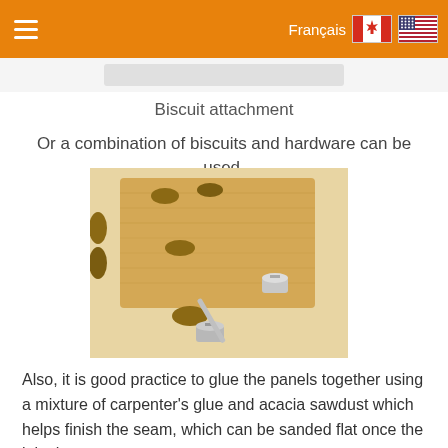Français
Biscuit attachment
Or a combination of biscuits and hardware can be used.
[Figure (photo): Photo of a wooden board with oval biscuit slots and a metal threaded bolt/connector hardware piece lying on it, showing biscuit attachment method for joining wood panels.]
Also, it is good practice to glue the panels together using a mixture of carpenter's glue and acacia sawdust which helps finish the seam, which can be sanded flat once the joint has